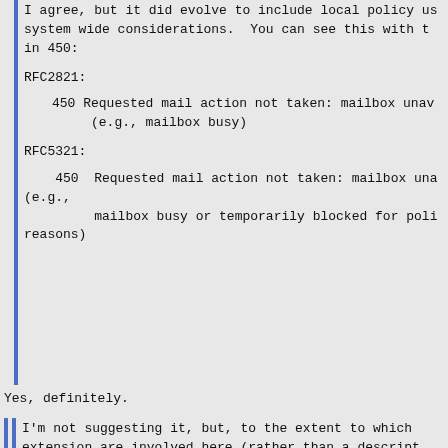I agree, but it did evolve to include local policy us system wide considerations.  You can see this with t in 450:
RFC2821:
450 Requested mail action not taken: mailbox unav
        (e.g., mailbox busy)
RFC5321:
450  Requested mail action not taken: mailbox una (e.g.,
         mailbox busy or temporarily blocked for poli reasons)
Yes, definitely.
I'm not suggesting it, but, to the extent to which extension are involved here (rather than a descript to use the base protocol in a particular way and im interoperability if it is used that way), one could thinks about a new series of reply codes for traffi management of various types (6yx?  9yz?) rather tha to do tricky things with 4yz.
I consider this and even a special extended status c stopped because the key part of the SMTP extension is the response text, which as far I am aware of, there known SMTP practice to do so (outside of proprietary